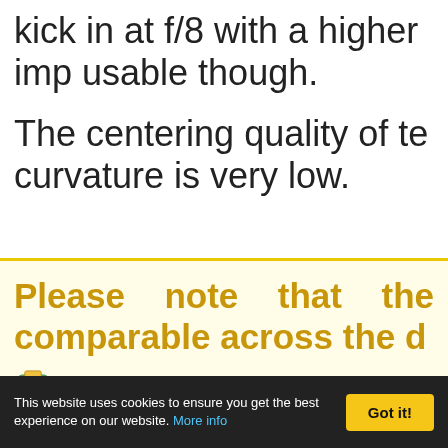kick in at f/8 with a higher imp usable though.
The centering quality of te curvature is very low.
Please note that the comparable across the d
Below is a simplified summ shows line widths per pi
This website uses cookies to ensure you get the best experience on our website. More info   Got it!